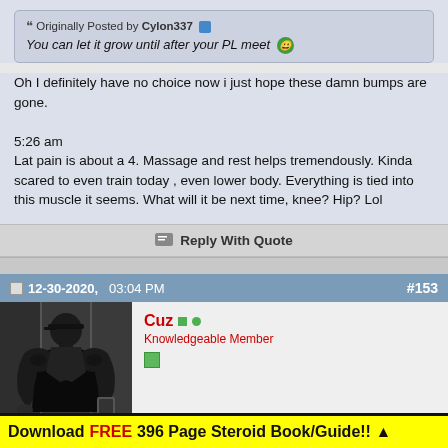Originally Posted by Cylon337
You can let it grow until after your PL meet 😁
Oh I definitely have no choice now i just hope these damn bumps are gone.

5:26 am
Lat pain is about a 4. Massage and rest helps tremendously. Kinda scared to even train today , even lower body. Everything is tied into this muscle it seems. What will it be next time, knee? Hip? Lol
Reply With Quote
12-30-2020,   03:04 PM   #153
[Figure (photo): Black and white photo of a muscular man wearing a cap and tank top, taking a mirror selfie in what appears to be a gym locker room]
Cuz
Knowledgeable Member
Download FREE 396 Page Steroid Book/Guide!! ▲